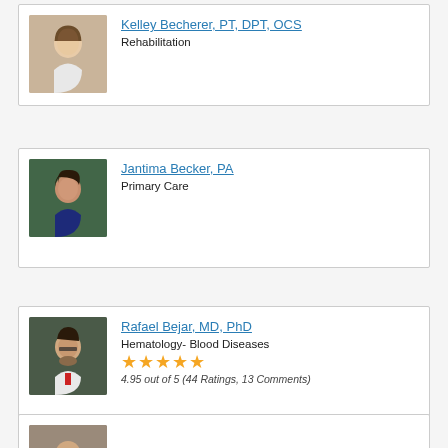[Figure (photo): Headshot of Kelley Becherer, a woman in a white coat with dark hair]
Kelley Becherer, PT, DPT, OCS
Rehabilitation
[Figure (photo): Headshot of Jantima Becker, a woman with dark hair smiling outdoors]
Jantima Becker, PA
Primary Care
[Figure (photo): Headshot of Rafael Bejar, a man with glasses and a beard wearing a white coat and red tie]
Rafael Bejar, MD, PhD
Hematology- Blood Diseases
4.95 out of 5 (44 Ratings, 13 Comments)
[Figure (photo): Partial headshot of a fourth provider, cropped at bottom of page]